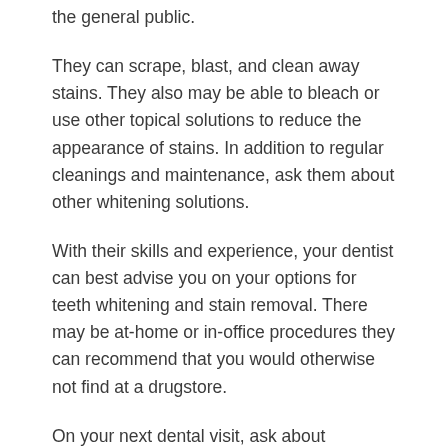the general public.
They can scrape, blast, and clean away stains. They also may be able to bleach or use other topical solutions to reduce the appearance of stains. In addition to regular cleanings and maintenance, ask them about other whitening solutions.
With their skills and experience, your dentist can best advise you on your options for teeth whitening and stain removal. There may be at-home or in-office procedures they can recommend that you would otherwise not find at a drugstore.
On your next dental visit, ask about removing stains on teeth–they are the experts, after all.
Consult the Experts for Removing